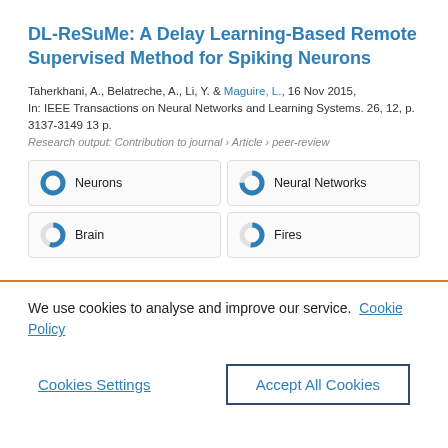DL-ReSuMe: A Delay Learning-Based Remote Supervised Method for Spiking Neurons
Taherkhani, A., Belatreche, A., Li, Y. & Maguire, L., 16 Nov 2015, In: IEEE Transactions on Neural Networks and Learning Systems. 26, 12, p. 3137-3149 13 p.
Research output: Contribution to journal › Article › peer-review
Neurons
Neural Networks
Brain
Fires
We use cookies to analyse and improve our service. Cookie Policy
Cookies Settings
Accept All Cookies